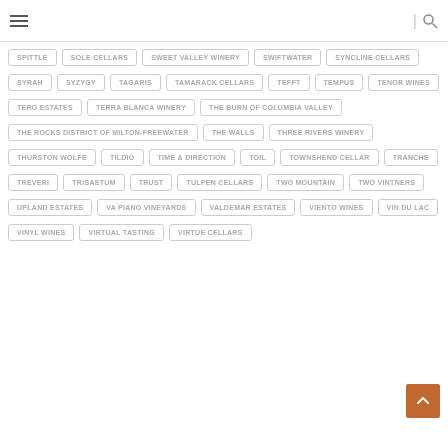navigation header with hamburger menu and search icon
SPITTLE
SOLE CELLARS
SWEET VALLEY WINERY
SWIFTWATER
SYNCLINE CELLARS
SYRAH
SYZYGY
TAGARIS
TAMARACK CELLARS
TEFFT
TEMPUS
TENOR WINES
TERO ESTATES
TERRA BLANCA WINERY
THE BURN OF COLUMBIA VALLEY
THE ROCKS DISTRICT OF MILTON-FREEWATER
THE WALLS
THREE RIVERS WINERY
THURSTON WOLFE
TILDIO
TIME & DIRECTION
TOIL
TOWNSHEND CELLAR
TRANCHE
TREVERI
TRISAETUM
TRUST
TULPEN CELLARS
TWO MOUNTAIN
TWO VINTNERS
UPLAND ESTATES
VA PIANO VINEYARDS
VALDEMAR ESTATES
VIENTO WINES
VIN DU LAC
VINYL WINES
VIRTUAL TASTING
VIRTUE CELLARS